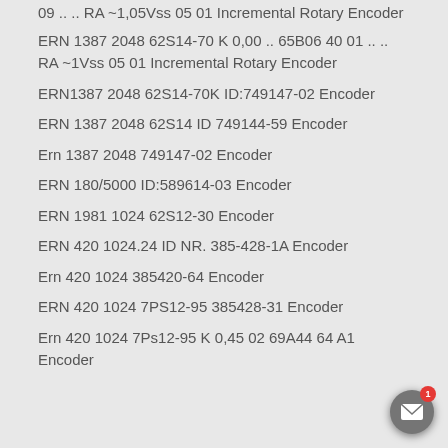09 .. .. RA ~1,05Vss 05 01 Incremental Rotary Encoder
ERN 1387 2048 62S14-70 K 0,00 .. 65B06 40 01 .. .. RA ~1Vss 05 01 Incremental Rotary Encoder
ERN1387 2048 62S14-70K ID:749147-02 Encoder
ERN 1387 2048 62S14 ID 749144-59 Encoder
Ern 1387 2048 749147-02 Encoder
ERN 180/5000 ID:589614-03 Encoder
ERN 1981 1024 62S12-30 Encoder
ERN 420 1024.24 ID NR. 385-428-1A Encoder
Ern 420 1024 385420-64 Encoder
ERN 420 1024 7PS12-95 385428-31 Encoder
Ern 420 1024 7Ps12-95 K 0,45 02 69A44 64 A1 Encoder